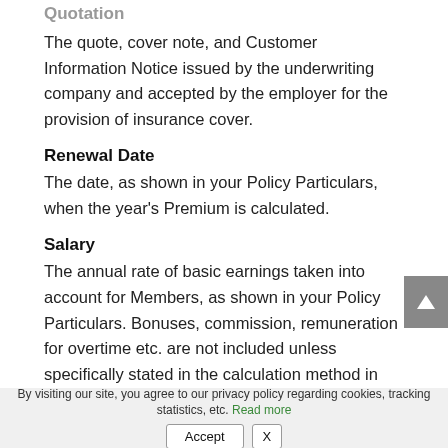Quotation
The quote, cover note, and Customer Information Notice issued by the underwriting company and accepted by the employer for the provision of insurance cover.
Renewal Date
The date, as shown in your Policy Particulars, when the year's Premium is calculated.
Salary
The annual rate of basic earnings taken into account for Members, as shown in your Policy Particulars. Bonuses, commission, remuneration for overtime etc. are not included unless specifically stated in the calculation method in the Policy Particulars. In the event of a Member's Salary comprising of any fluctuating emoluments, any claims made in regard to…
By visiting our site, you agree to our privacy policy regarding cookies, tracking statistics, etc. Read more  Accept  X